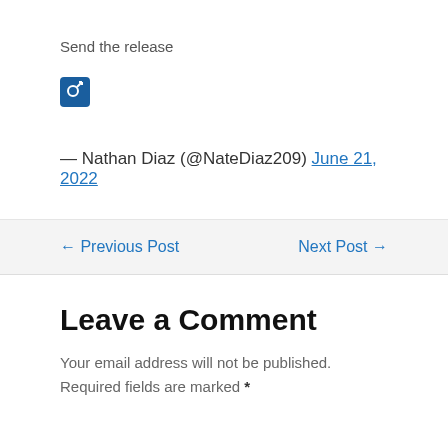Send the release
[Figure (illustration): Male gender symbol icon in white on dark blue square background]
— Nathan Diaz (@NateDiaz209) June 21, 2022
← Previous Post
Next Post →
Leave a Comment
Your email address will not be published. Required fields are marked *